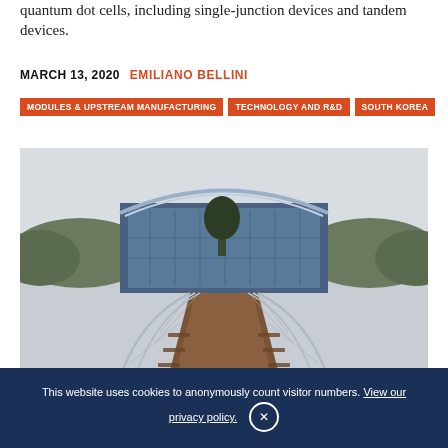quantum dot cells, including single-junction devices and tandem devices.
MARCH 13, 2020  EMILIANO BELLINI
MODULES & UPSTREAM MANUFACTURING
TECHNOLOGY AND R&D
SOUTH KOREA
[Figure (photo): Exterior view of a modern curved glass building with a pedestrian bridge with railings leading to it, surrounded by trees.]
This website uses cookies to anonymously count visitor numbers. View our privacy policy.